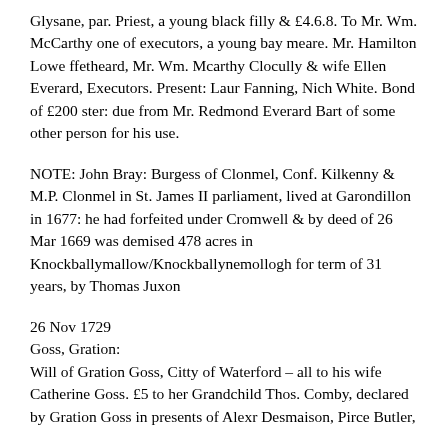Glysane, par. Priest, a young black filly & £4.6.8. To Mr. Wm. McCarthy one of executors, a young bay meare. Mr. Hamilton Lowe ffetheard, Mr. Wm. Mcarthy Clocully & wife Ellen Everard, Executors. Present: Laur Fanning, Nich White. Bond of £200 ster: due from Mr. Redmond Everard Bart of some other person for his use.
NOTE: John Bray: Burgess of Clonmel, Conf. Kilkenny & M.P. Clonmel in St. James II parliament, lived at Garondillon in 1677: he had forfeited under Cromwell & by deed of 26 Mar 1669 was demised 478 acres in Knockballymallow/Knockballynemollogh for term of 31 years, by Thomas Juxon
26 Nov 1729
Goss, Gration:
Will of Gration Goss, Citty of Waterford – all to his wife Catherine Goss. £5 to her Grandchild Thos. Comby, declared by Gration Goss in presents of Alexr Desmaison, Pirce Butler,